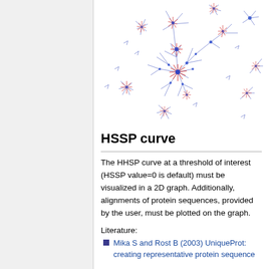[Figure (network-graph): A complex network graph showing protein sequence clusters. Nodes are connected by blue lines forming a tree/network structure. Red star-burst clusters radiate from central hubs, with blue dot nodes scattered throughout. The visualization represents protein sequence similarity relationships.]
HSSP curve
The HHSP curve at a threshold of interest (HSSP value=0 is default) must be visualized in a 2D graph. Additionally, alignments of protein sequences, provided by the user, must be plotted on the graph.
Literature:
Mika S and Rost B (2003) UniqueProt: creating representative protein sequence